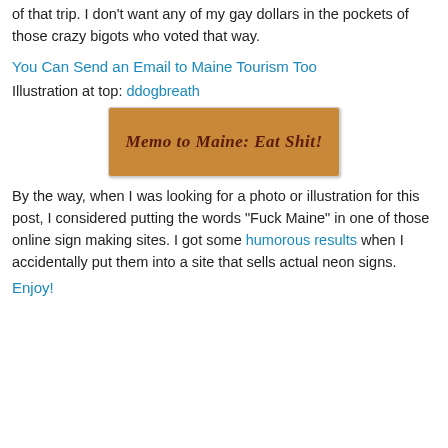of that trip. I don't want any of my gay dollars in the pockets of those crazy bigots who voted that way.
You Can Send an Email to Maine Tourism Too
Illustration at top: ddogbreath
[Figure (illustration): A wooden sign-style banner reading 'Memo to Maine: Eat Shit!' in dark red cursive on a brown textured background.]
By the way, when I was looking for a photo or illustration for this post, I considered putting the words "Fuck Maine" in one of those online sign making sites. I got some humorous results when I accidentally put them into a site that sells actual neon signs.
Enjoy!